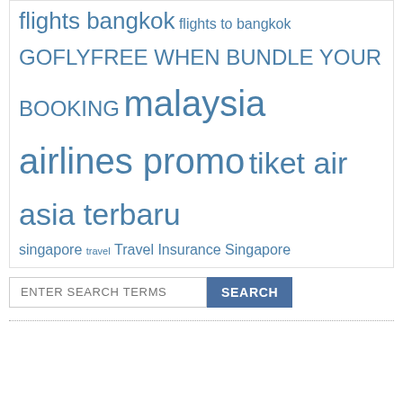flights bangkok flights to bangkok GOFLYFREE WHEN BUNDLE YOUR BOOKING malaysia airlines promo tiket air asia terbaru singapore travel Travel Insurance Singapore
[Figure (screenshot): Search box with placeholder text 'ENTER SEARCH TERMS' and a blue SEARCH button]